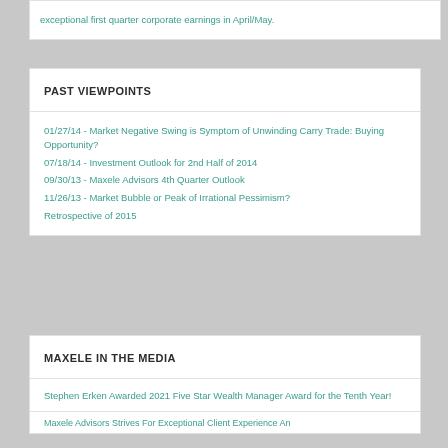exceptional first quarter corporate earnings in April/May.
PAST VIEWPOINTS
01/27/14 - Market Negative Swing is Symptom of Unwinding Carry Trade: Buying Opportunity?
07/18/14 - Investment Outlook for 2nd Half of 2014
09/30/13 - Maxele Advisors 4th Quarter Outlook
11/26/13 - Market Bubble or Peak of Irrational Pessimism?
Retrospective of 2015
MAXELE IN THE MEDIA
Stephen Erken Awarded 2021 Five Star Wealth Manager Award for the Tenth Year!
Maxele Advisors Strives For Exceptional Client Experience An